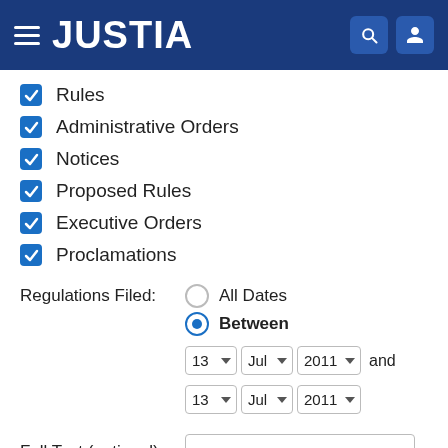JUSTIA
Rules
Administrative Orders
Notices
Proposed Rules
Executive Orders
Proclamations
Regulations Filed: All Dates / Between 13 Jul 2011 and 13 Jul 2011
Full Text (optional):